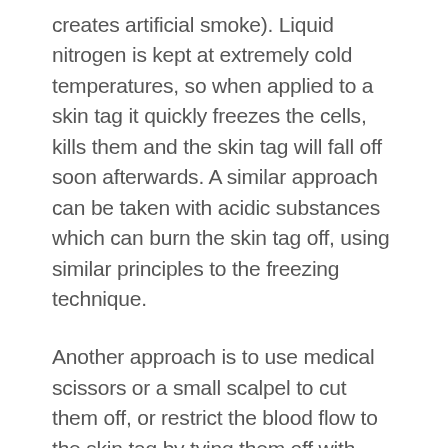creates artificial smoke). Liquid nitrogen is kept at extremely cold temperatures, so when applied to a skin tag it quickly freezes the cells, kills them and the skin tag will fall off soon afterwards. A similar approach can be taken with acidic substances which can burn the skin tag off, using similar principles to the freezing technique.
Another approach is to use medical scissors or a small scalpel to cut them off, or restrict the blood flow to the skin tag by tying them off with something like dental floss.
No time for DIY
It is important not to try and remove a skin tag yourself unless you have spoken to a GP or a